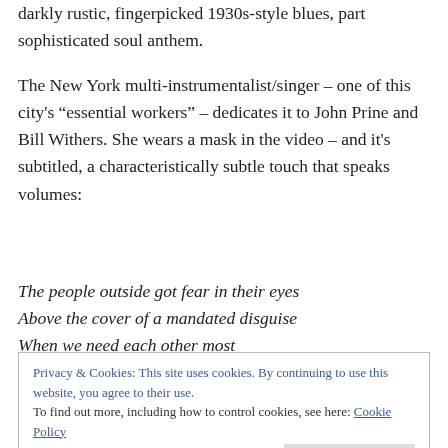darkly rustic, fingerpicked 1930s-style blues, part sophisticated soul anthem.
The New York multi-instrumentalist/singer – one of this city's “essential workers” – dedicates it to John Prine and Bill Withers. She wears a mask in the video – and it’s subtitled, a characteristically subtle touch that speaks volumes:
The people outside got fear in their eyes
Above the cover of a mandated disguise
When we need each other most
Privacy & Cookies: This site uses cookies. By continuing to use this website, you agree to their use.
To find out more, including how to control cookies, see here: Cookie Policy
We’re expendable when we don’t have the cash, unbled